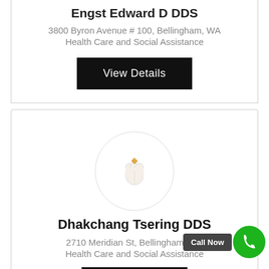Engst Edward D DDS
3800 Byron Avenue # 100, Bellingham, WA
Health Care and Social Assistance
View Details
[Figure (logo): Dental logo: tooth icon with a gem on top, inside a light circle, on white circular background with light grey border]
Dhakchang Tsering DDS
2710 Meridian St, Bellingham, WA
Health Care and Social Assistance
Call Now